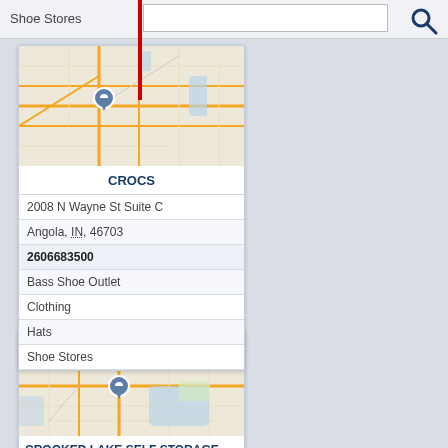Shoe Stores
[Figure (map): Street map showing location pin for Crocs store in Angola, IN area]
CROCS
2008 N Wayne St Suite C
Angola, IN, 46703
2606683500
Bass Shoe Outlet
Clothing
Hats
Shoe Stores
[Figure (map): Street map showing location pin for Crooked Lake Self Storage in Angola, IN area]
CROOKED LAKE SELF STORAGE
1968 N 400 W
Angola, IN, 46703